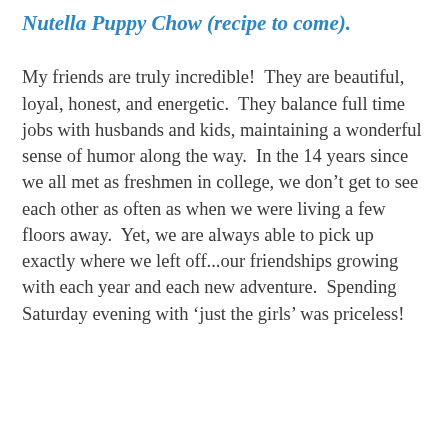Nutella Puppy Chow (recipe to come).
My friends are truly incredible!  They are beautiful, loyal, honest, and energetic.  They balance full time jobs with husbands and kids, maintaining a wonderful sense of humor along the way.  In the 14 years since we all met as freshmen in college, we don’t get to see each other as often as when we were living a few floors away.  Yet, we are always able to pick up exactly where we left off...our friendships growing with each year and each new adventure.  Spending Saturday evening with ‘just the girls’ was priceless!